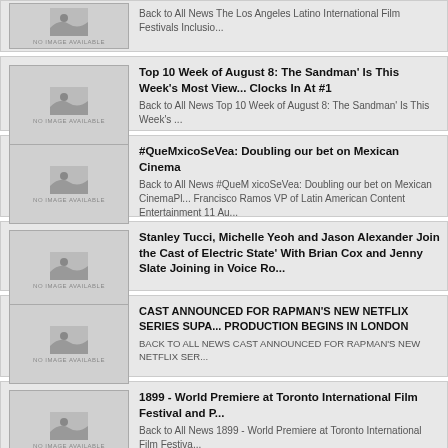Back to All News The Los Angeles Latino International Film Festivals Inclusio...
Top 10 Week of August 8: The Sandman' Is This Week's Most Viewed, Clocks In At #1 — Back to All News Top 10 Week of August 8: The Sandman' Is This Week's ...
#QueMxicoSeVea: Doubling our bet on Mexican Cinema — Back to All News #QueM xicoSeVea: Doubling our bet on Mexican Cinema Francisco Ramos VP of Latin American Content Entertainment 11 Au...
Stanley Tucci, Michelle Yeoh and Jason Alexander Join the Cast of 'Electric State' With Brian Cox and Jenny Slate Joining in Voice Ro...
CAST ANNOUNCED FOR RAPMAN'S NEW NETFLIX SERIES SUPA — PRODUCTION BEGINS IN LONDON — Back to All News CAST ANNOUNCED FOR RAPMAN'S NEW NETFLIX SER...
1899 - World Premiere at Toronto International Film Festival and P... — Back to All News 1899 - World Premiere at Toronto International Film Festiva...
Netflix reveals production, lead actor and first look for film Call M... — Back to All News Netflix reveals production, lead actor and first look for film C... Video Play Video Entertainment 09 August 2022 GlobalJap...